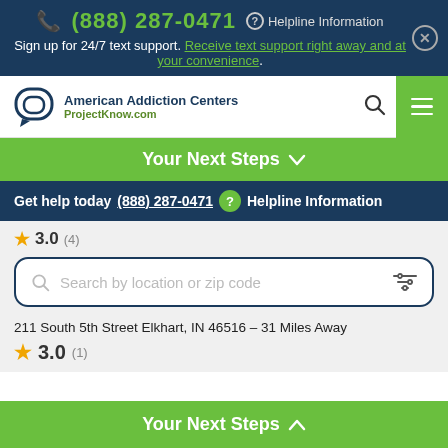(888) 287-0471 ? Helpline Information Sign up for 24/7 text support. Receive text support right away and at your convenience.
[Figure (logo): American Addiction Centers / ProjectKnow.com logo with speech bubble icon]
Your Next Steps ∨
Get help today (888) 287-0471 ? Helpline Information
3.0 (4)
Search by location or zip code
211 South 5th Street Elkhart, IN 46516 – 31 Miles Away
3.0 (1)
Your Next Steps ∧